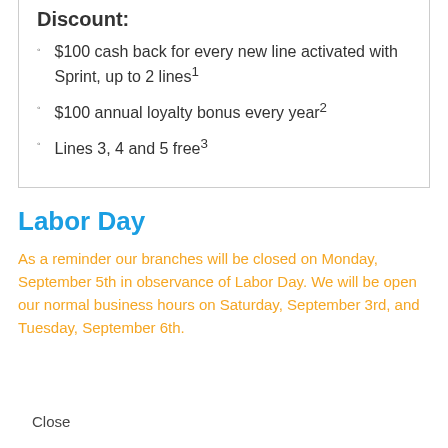Discount:
$100 cash back for every new line activated with Sprint, up to 2 lines¹
$100 annual loyalty bonus every year²
Lines 3, 4 and 5 free³
Labor Day
As a reminder our branches will be closed on Monday, September 5th in observance of Labor Day. We will be open our normal business hours on Saturday, September 3rd, and Tuesday, September 6th.
Close